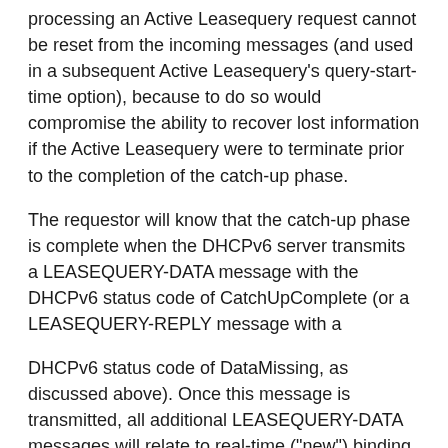processing an Active Leasequery request cannot be reset from the incoming messages (and used in a subsequent Active Leasequery's query-start-time option), because to do so would compromise the ability to recover lost information if the Active Leasequery were to terminate prior to the completion of the catch-up phase.
The requestor will know that the catch-up phase is complete when the DHCPv6 server transmits a LEASEQUERY-DATA message with the DHCPv6 status code of CatchUpComplete (or a LEASEQUERY-REPLY message with a
DHCPv6 status code of DataMissing, as discussed above). Once this message is transmitted, all additional LEASEQUERY-DATA messages will relate to real-time ("new") binding changes in the DHCPv6 server.
As discussed in Section 8.4, the requestor SHOULD keep track of the latest base-time option value received over a particular connection, to be used in a subsequent Active Leasequery request, but only if the catch-up phase is